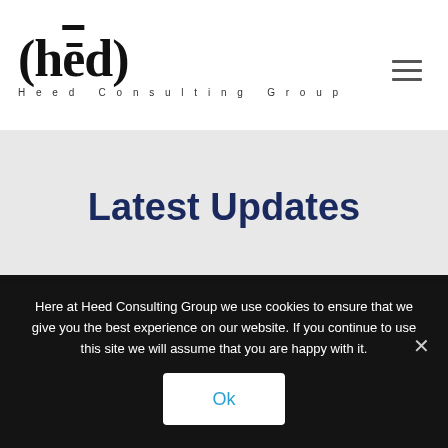(hēd) Heed Consulting Group
Latest Updates
Here at Heed Consulting Group we use cookies to ensure that we give you the best experience on our website. If you continue to use this site we will assume that you are happy with it.
Ok